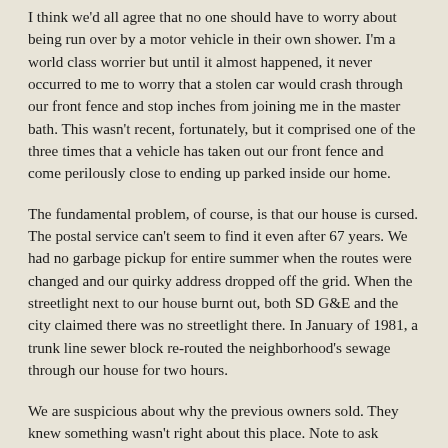I think we'd all agree that no one should have to worry about being run over by a motor vehicle in their own shower. I'm a world class worrier but until it almost happened, it never occurred to me to worry that a stolen car would crash through our front fence and stop inches from joining me in the master bath. This wasn't recent, fortunately, but it comprised one of the three times that a vehicle has taken out our front fence and come perilously close to ending up parked inside our home.
The fundamental problem, of course, is that our house is cursed. The postal service can't seem to find it even after 67 years. We had no garbage pickup for entire summer when the routes were changed and our quirky address dropped off the grid. When the streetlight next to our house burnt out, both SD G&E and the city claimed there was no streetlight there. In January of 1981, a trunk line sewer block re-routed the neighborhood's sewage through our house for two hours.
We are suspicious about why the previous owners sold. They knew something wasn't right about this place. Note to ask realtor friends: when we sell, is being cursed a required disclosable? Do we need to inform prospective buyers that anyone residing here